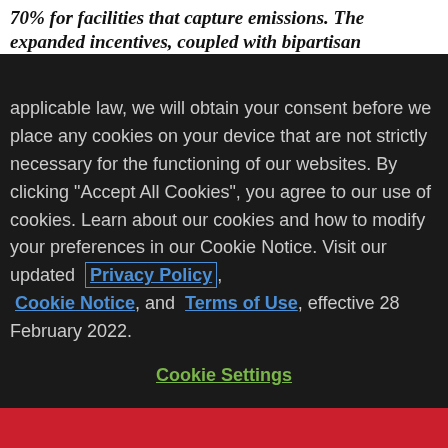70% for facilities that capture emissions. The expanded incentives, coupled with bipartisan
applicable law, we will obtain your consent before we place any cookies on your device that are not strictly necessary for the functioning of our websites. By clicking "Accept All Cookies", you agree to our use of cookies. Learn about our cookies and how to modify your preferences in our Cookie Notice. Visit our updated Privacy Policy, Cookie Notice, and Terms of Use, effective 28 February 2022.
Cookie Settings